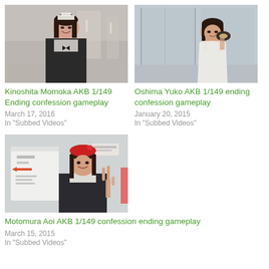[Figure (photo): Kinoshita Momoka in maid costume, smiling, restaurant background with candles]
Kinoshita Momoka AKB 1/149 Ending confession gameplay
March 17, 2016
In "Subbed Videos"
[Figure (photo): Oshima Yuko in white lace outfit, sitting near window, holding dark object]
Oshima Yuko AKB 1/149 ending confession gameplay
January 20, 2015
In "Subbed Videos"
[Figure (photo): Motomura Aoi wearing red beret, dark outfit, making peace sign, whiteboard in background]
Motomura Aoi AKB 1/149 confession ending gameplay
March 15, 2015
In "Subbed Videos"